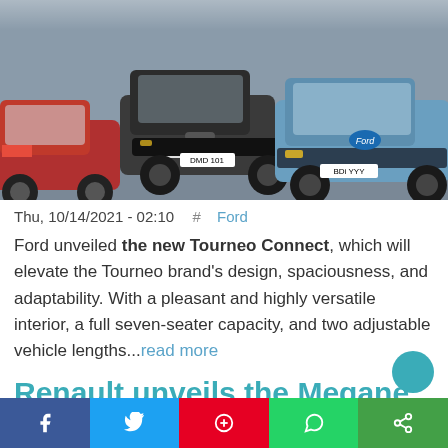[Figure (photo): Three Ford Tourneo Connect vans parked together — red on left, dark grey/black in center, light blue on right — on a grey tarmac surface]
Thu, 10/14/2021 - 02:10  #  Ford
Ford unveiled the new Tourneo Connect, which will elevate the Tourneo brand's design, spaciousness, and adaptability. With a pleasant and highly versatile interior, a full seven-seater capacity, and two adjustable vehicle lengths...read more
Renault unveils the Megane E-